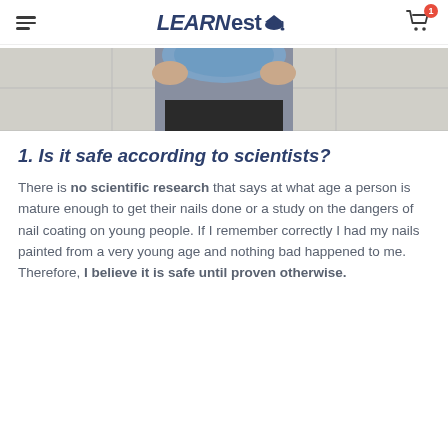LEARNesto
[Figure (photo): Partial photo of a person holding a blue face mask, cropped at the top of the page]
1. Is it safe according to scientists?
There is no scientific research that says at what age a person is mature enough to get their nails done or a study on the dangers of nail coating on young people. If I remember correctly I had my nails painted from a very young age and nothing bad happened to me. Therefore, I believe it is safe until proven otherwise.